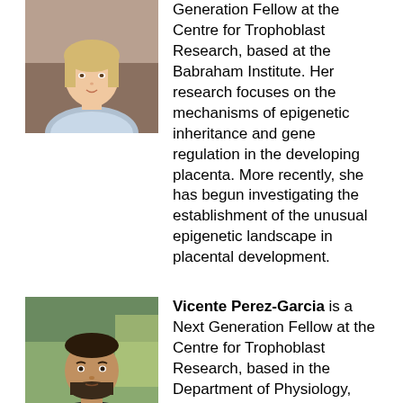[Figure (photo): Headshot of a young woman with long blonde hair, wearing a light grey top, with a warm indoor background.]
Generation Fellow at the Centre for Trophoblast Research, based at the Babraham Institute. Her research focuses on the mechanisms of epigenetic inheritance and gene regulation in the developing placenta. More recently, she has begun investigating the establishment of the unusual epigenetic landscape in placental development.
[Figure (photo): Headshot of a middle-aged man with dark hair and beard, wearing a black t-shirt, with an outdoor background.]
Vicente Perez-Garcia is a Next Generation Fellow at the Centre for Trophoblast Research, based in the Department of Physiology, Development and Neuroscience. He is interested in deciphering the common molecular mechanisms shared between trophoblast and cancer cells by using CRISPR/Cas9 genome editing systems to genetically manipulate